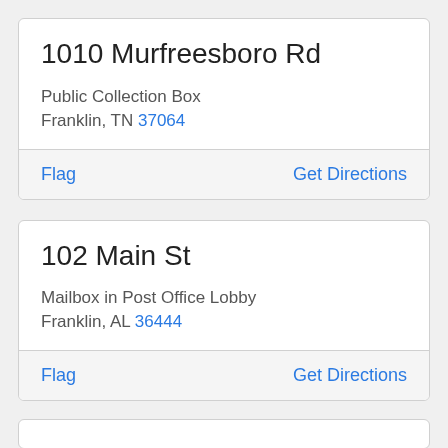1010 Murfreesboro Rd
Public Collection Box
Franklin, TN 37064
Flag
Get Directions
102 Main St
Mailbox in Post Office Lobby
Franklin, AL 36444
Flag
Get Directions